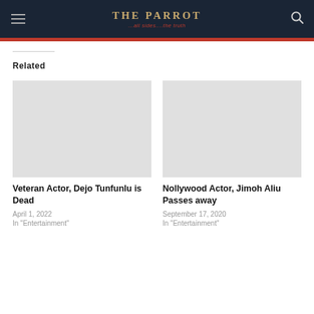THE PARROT ...all sides....the truth
Related
Veteran Actor, Dejo Tunfunlu is Dead
April 1, 2022
In "Entertainment"
Nollywood Actor, Jimoh Aliu Passes away
September 17, 2020
In "Entertainment"